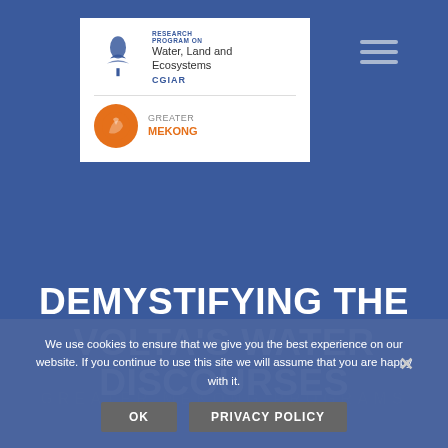[Figure (logo): CGIAR Research Program on Water, Land and Ecosystems logo and Greater Mekong logo on white background]
DEMYSTIFYING THE VOLTA'S WATER DISCOURSES
We use cookies to ensure that we give you the best experience on our website. If you continue to use this site we will assume that you are happy with it.
OK   PRIVACY POLICY